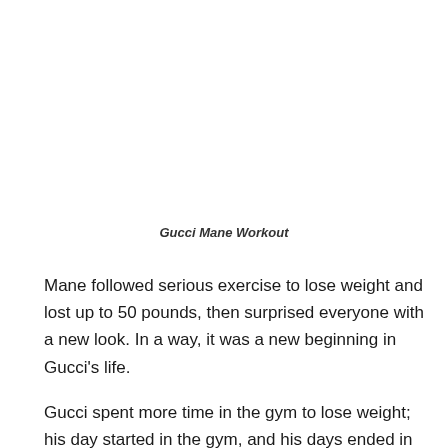Gucci Mane Workout
Mane followed serious exercise to lose weight and lost up to 50 pounds, then surprised everyone with a new look. In a way, it was a new beginning in Gucci's life.
Gucci spent more time in the gym to lose weight; his day started in the gym, and his days ended in the gym. Gucci's exercises include pull-ups, weightlifting, running,